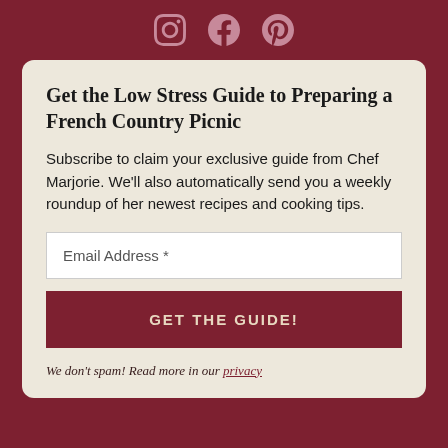[Figure (illustration): Three social media icons (Instagram, Facebook, Pinterest) displayed in a muted rose/pink color on a dark red background at the top of the page.]
Get the Low Stress Guide to Preparing a French Country Picnic
Subscribe to claim your exclusive guide from Chef Marjorie. We'll also automatically send you a weekly roundup of her newest recipes and cooking tips.
Email Address *
GET THE GUIDE!
We don't spam! Read more in our privacy